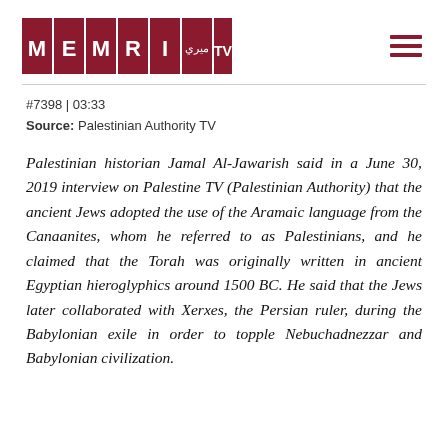[Figure (logo): MEMRI TV logo — red background rectangles spelling M E M R I with Arabic text and TV]
#7398 | 03:33
Source: Palestinian Authority TV
Palestinian historian Jamal Al-Jawarish said in a June 30, 2019 interview on Palestine TV (Palestinian Authority) that the ancient Jews adopted the use of the Aramaic language from the Canaanites, whom he referred to as Palestinians, and he claimed that the Torah was originally written in ancient Egyptian hieroglyphics around 1500 BC. He said that the Jews later collaborated with Xerxes, the Persian ruler, during the Babylonian exile in order to topple Nebuchadnezzar and Babylonian civilization.